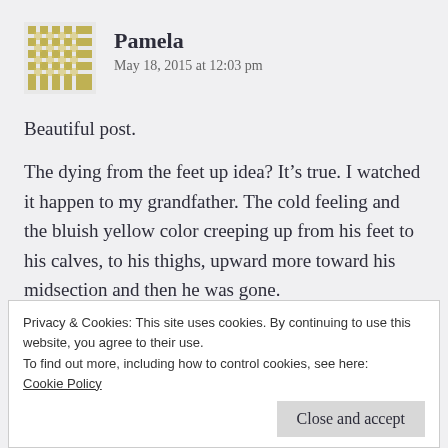[Figure (illustration): Gold/yellow geometric cross-stitch pattern avatar icon]
Pamela
May 18, 2015 at 12:03 pm
Beautiful post.
The dying from the feet up idea? It’s true. I watched it happen to my grandfather. The cold feeling and the bluish yellow color creeping up from his feet to his calves, to his thighs, upward more toward his midsection and then he was gone.
Privacy & Cookies: This site uses cookies. By continuing to use this website, you agree to their use.
To find out more, including how to control cookies, see here:
Cookie Policy
Close and accept